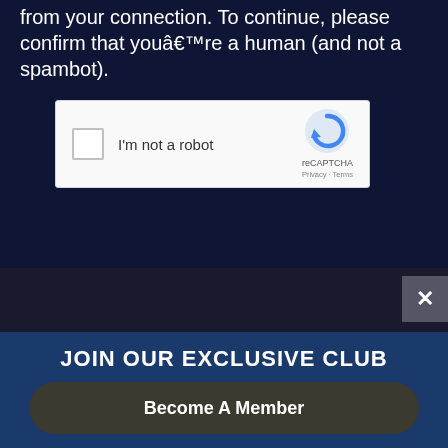from your connection. To continue, please confirm that youâ€™re a human (and not a spambot).
[Figure (screenshot): reCAPTCHA widget with checkbox labeled 'I'm not a robot' and reCAPTCHA logo with Privacy and Terms links]
[Figure (screenshot): Dark overlay section with close (X) button and a small circular icon]
JOIN OUR EXCLUSIVE CLUB
Become A Member